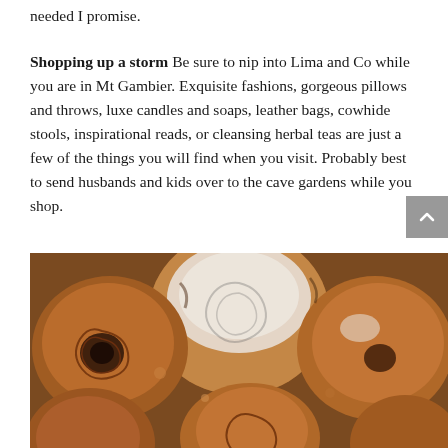needed I promise.
Shopping up a storm Be sure to nip into Lima and Co while you are in Mt Gambier. Exquisite fashions, gorgeous pillows and throws, luxe candles and soaps, leather bags, cowhide stools, inspirational reads, or cleansing herbal teas are just a few of the things you will find when you visit. Probably best to send husbands and kids over to the cave gardens while you shop.
[Figure (photo): Close-up photograph of cinnamon rolls or pastries dusted with powdered sugar, arranged together, viewed from above.]